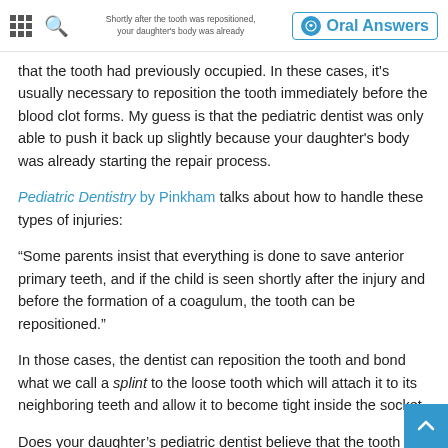Oral Answers
that the tooth had previously occupied. In these cases, it's usually necessary to reposition the tooth immediately before the blood clot forms. My guess is that the pediatric dentist was only able to push it back up slightly because your daughter's body was already starting the repair process.
Pediatric Dentistry by Pinkham talks about how to handle these types of injuries:
“Some parents insist that everything is done to save anterior primary teeth, and if the child is seen shortly after the injury and before the formation of a coagulum, the tooth can be repositioned.”
In those cases, the dentist can reposition the tooth and bond what we call a splint to the loose tooth which will attach it to its neighboring teeth and allow it to become tight inside the socket.
Does your daughter’s pediatric dentist believe that the tooth can be saved? If it’s still loose, my guess is that it will probably need to come out, but keep in mind that I can’t see the tooth and it may be